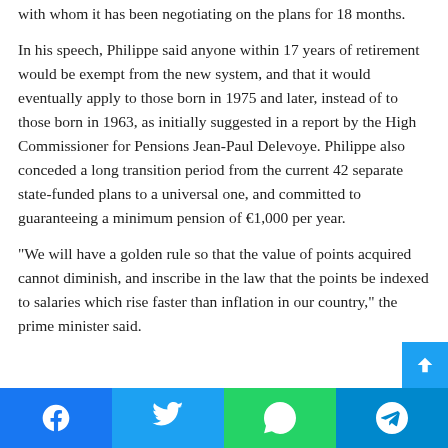with whom it has been negotiating on the plans for 18 months.
In his speech, Philippe said anyone within 17 years of retirement would be exempt from the new system, and that it would eventually apply to those born in 1975 and later, instead of to those born in 1963, as initially suggested in a report by the High Commissioner for Pensions Jean-Paul Delevoye. Philippe also conceded a long transition period from the current 42 separate state-funded plans to a universal one, and committed to guaranteeing a minimum pension of €1,000 per year.
“We will have a golden rule so that the value of points acquired cannot diminish, and inscribe in the law that the points be indexed to salaries which rise faster than inflation in our country,” the prime minister said.
[Figure (infographic): Social media sharing bar with Facebook, Twitter, WhatsApp, and Telegram buttons]